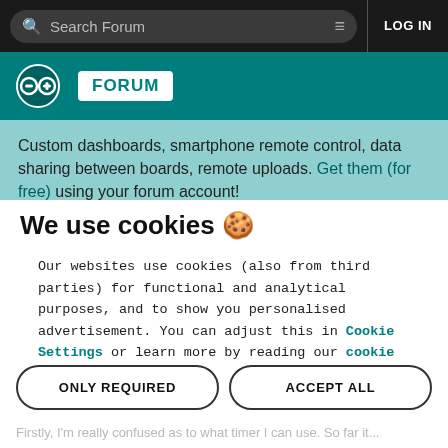Search Forum | LOG IN
[Figure (logo): Arduino Forum logo with teal background, Arduino infinity logo and FORUM badge]
Custom dashboards, smartphone remote control, data sharing between boards, remote uploads. Get them (for free) using your forum account!
We use cookies 🍪
Our websites use cookies (also from third parties) for functional and analytical purposes, and to show you personalised advertisement. You can adjust this in Cookie Settings or learn more by reading our cookie policy.
ONLY REQUIRED | ACCEPT ALL